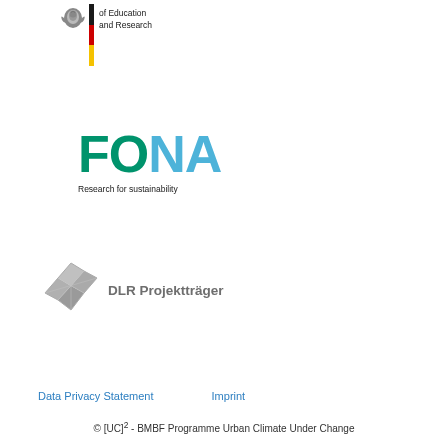[Figure (logo): Federal Ministry of Education and Research logo with eagle emblem, German flag stripe (black/red/gold), and text 'of Education and Research']
[Figure (logo): FONA logo - 'FONA' in large bold text with 'FO' in green and 'NA' in blue, tagline 'Research for sustainability' below]
[Figure (logo): DLR Projektträger logo with stylized geometric star/arrow symbol in grey and text 'DLR Projektträger']
Data Privacy Statement    Imprint
© [UC]² - BMBF Programme Urban Climate Under Change